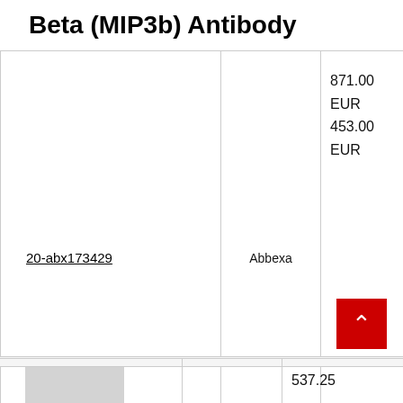Beta (MIP3b) Antibody
| Catalog | Supplier | Price |
| --- | --- | --- |
| 20-abx173429 | Abbexa | 871.00 EUR
453.00 EUR |
[Figure (photo): Thumbnail image placeholder for Macrophage Inflammatory Protein 3 Beta product]
Recombinant Macrophage Inflammatory Protein 3 Beta
|  |  | 537.25 |